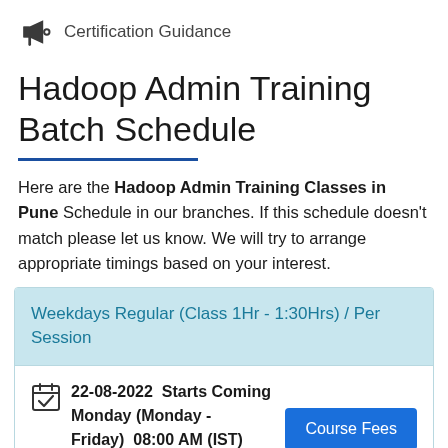Certification Guidance
Hadoop Admin Training Batch Schedule
Here are the Hadoop Admin Training Classes in Pune Schedule in our branches. If this schedule doesn't match please let us know. We will try to arrange appropriate timings based on your interest.
Weekdays Regular (Class 1Hr - 1:30Hrs) / Per Session
22-08-2022  Starts Coming Monday (Monday - Friday)  08:00 AM (IST)